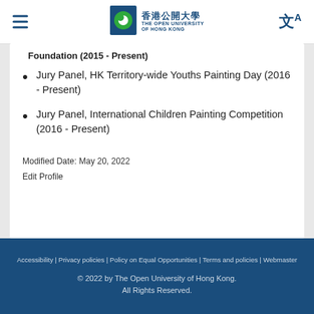[Figure (logo): The Open University of Hong Kong logo with green circle icon, Chinese and English text]
Foundation (2015 - Present)
Jury Panel, HK Territory-wide Youths Painting Day (2016 - Present)
Jury Panel, International Children Painting Competition (2016 - Present)
Modified Date: May 20, 2022
Edit Profile
Accessibility | Privacy policies | Policy on Equal Opportunities | Terms and policies | Webmaster
© 2022 by The Open University of Hong Kong. All Rights Reserved.